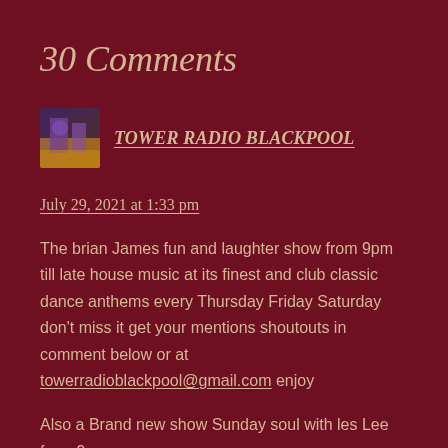30 Comments
TOWER RADIO BLACKPOOL
July 29, 2021 at 1:33 pm
The brian James fun and laughter show from 9pm till late house music at its finest and club classic dance anthems every Thursday Friday Saturday don't miss it get your mentions shoutouts in comment below or at towerradioblackpool@gmail.com enjoy
Also a Brand new show Sunday soul with les Lee from 9pm